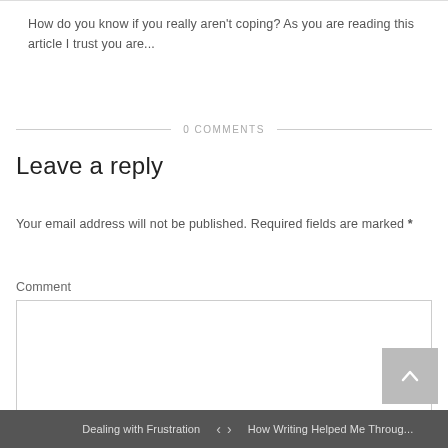How do you know if you really aren't coping? As you are reading this article I trust you are...
0 COMMENTS
Leave a reply
Your email address will not be published. Required fields are marked *
Comment
Dealing with Frustration < > How Writing Helped Me Throug...